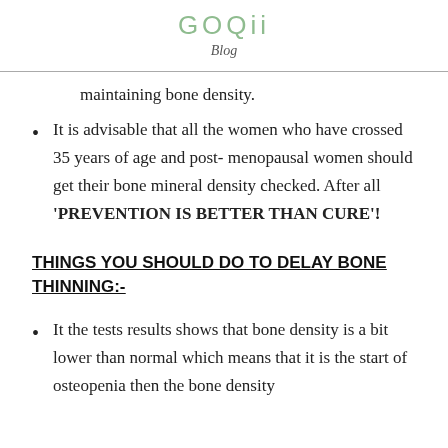GOQii
Blog
maintaining bone density.
It is advisable that all the women who have crossed 35 years of age and post- menopausal women should get their bone mineral density checked. After all 'PREVENTION IS BETTER THAN CURE'!
THINGS YOU SHOULD DO TO DELAY BONE THINNING:-
It the tests results shows that bone density is a bit lower than normal which means that it is the start of osteopenia then the bone density